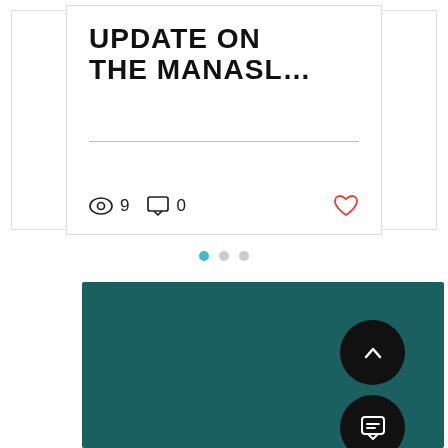[Figure (screenshot): Blog post card showing truncated title 'UPDATE ON THE MANASL...' in bold uppercase, a horizontal divider, and meta row with eye icon showing 9 views, comment icon showing 0 comments, and a red heart icon. Adjacent partial card stubs visible on left and right.]
[Figure (other): Pagination dots: three circles, first filled teal (active), second and third grey]
[Figure (other): Dark teal rectangular background block with two circular black buttons: an up-arrow (scroll to top) button and a chat/messaging bubble button, both white icons on black circles]